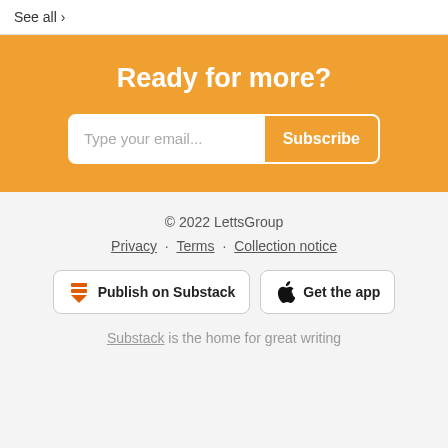See all >
Ready for more?
Type your email... Subscribe
© 2022 LettsGroup
Privacy · Terms · Collection notice
Publish on Substack
Get the app
Substack is the home for great writing